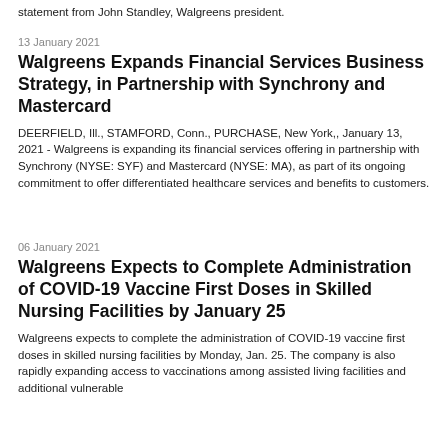statement from John Standley, Walgreens president.
13 January 2021
Walgreens Expands Financial Services Business Strategy, in Partnership with Synchrony and Mastercard
DEERFIELD, Ill., STAMFORD, Conn., PURCHASE, New York,, January 13, 2021 - Walgreens is expanding its financial services offering in partnership with Synchrony (NYSE: SYF) and Mastercard (NYSE: MA), as part of its ongoing commitment to offer differentiated healthcare services and benefits to customers.
06 January 2021
Walgreens Expects to Complete Administration of COVID-19 Vaccine First Doses in Skilled Nursing Facilities by January 25
Walgreens expects to complete the administration of COVID-19 vaccine first doses in skilled nursing facilities by Monday, Jan. 25. The company is also rapidly expanding access to vaccinations among assisted living facilities and additional vulnerable